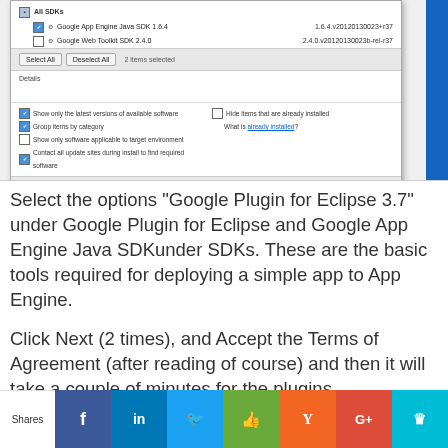[Figure (screenshot): Eclipse plugin install dialog showing SDKs list with Google App Engine Java SDK 1.6.4 and Google Web Toolkit SDK 2.4.0 selected, with Select All/Deselect All buttons, Details section, options checkboxes, and navigation buttons (Back, Next, Finish, Cancel)]
Select the options "Google Plugin for Eclipse 3.7" under Google Plugin for Eclipse and Google App Engine Java SDKunder SDKs. These are the basic tools required for deploying a simple app to App Engine.
Click Next (2 times), and Accept the Terms of Agreement (after reading of course) and then it will take a couple of minutes for the plugins